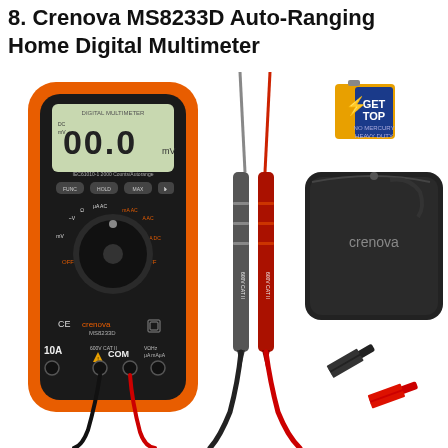8. Crenova MS8233D Auto-Ranging Home Digital Multimeter
[Figure (photo): Product photo of Crenova MS8233D digital multimeter with orange and black casing showing LCD display reading 00.0, rotary selector dial, test leads (black and red with alligator clips), a GETTOP 9V battery, and a black Crenova carrying case.]